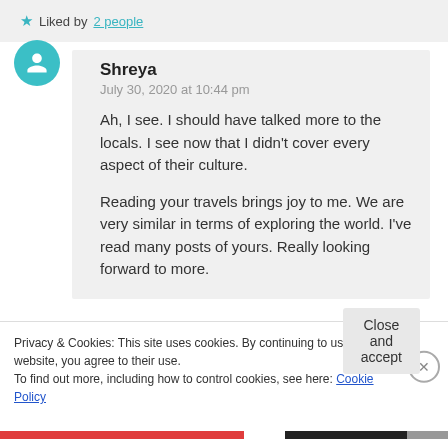★ Liked by 2 people
Shreya
July 30, 2020 at 10:44 pm

Ah, I see. I should have talked more to the locals. I see now that I didn't cover every aspect of their culture.

Reading your travels brings joy to me. We are very similar in terms of exploring the world. I've read many posts of yours. Really looking forward to more.
Privacy & Cookies: This site uses cookies. By continuing to use this website, you agree to their use.
To find out more, including how to control cookies, see here: Cookie Policy
Close and accept